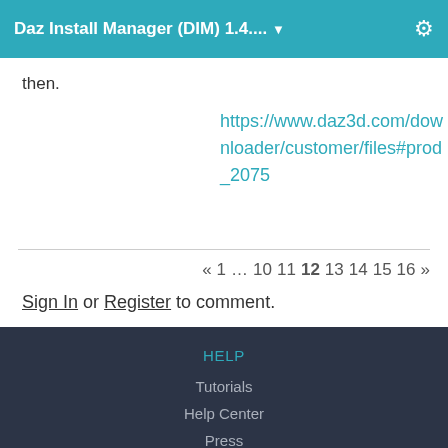Daz Install Manager (DIM) 1.4.... ▼
then.
https://www.daz3d.com/downloader/customer/files#prod_2075
« 1 … 10 11 12 13 14 15 16 »
Sign In or Register to comment.
HELP
Tutorials
Help Center
Press